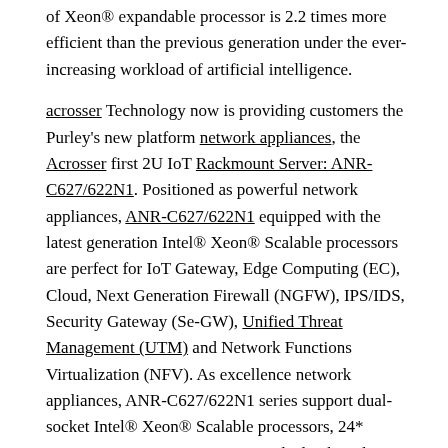of Xeon® expandable processor is 2.2 times more efficient than the previous generation under the ever-increasing workload of artificial intelligence.
acrosser Technology now is providing customers the Purley's new platform network appliances, the Acrosser first 2U IoT Rackmount Server: ANR-C627/622N1. Positioned as powerful network appliances, ANR-C627/622N1 equipped with the latest generation Intel® Xeon® Scalable processors are perfect for IoT Gateway, Edge Computing (EC), Cloud, Next Generation Firewall (NGFW), IPS/IDS, Security Gateway (Se-GW), Unified Threat Management (UTM) and Network Functions Virtualization (NFV). As excellence network appliances, ANR-C627/622N1 series support dual-socket Intel® Xeon® Scalable processors, 24* RDIMM/LRDIMM DDR4-2666, dual onboard SFP+ (10G fiber) and 8* Expandable Network Interface